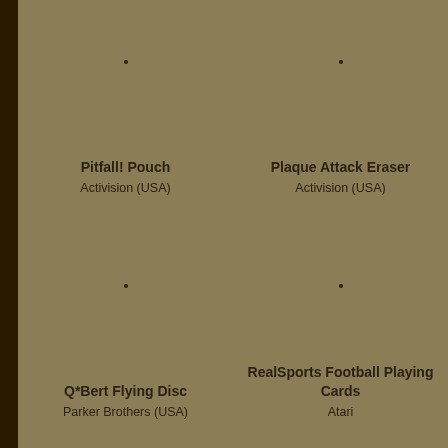[Figure (other): Placeholder image area for Pitfall! Pouch with a small dot marker]
Pitfall! Pouch
Activision (USA)
[Figure (other): Placeholder image area for Plaque Attack Eraser with a small dot marker]
Plaque Attack Eraser
Activision (USA)
[Figure (other): Placeholder image area for Q*Bert Flying Disc with a small dot marker]
Q*Bert Flying Disc
Parker Brothers (USA)
[Figure (other): Placeholder image area for RealSports Football Playing Cards with a small dot marker]
RealSports Football Playing Cards
Atari